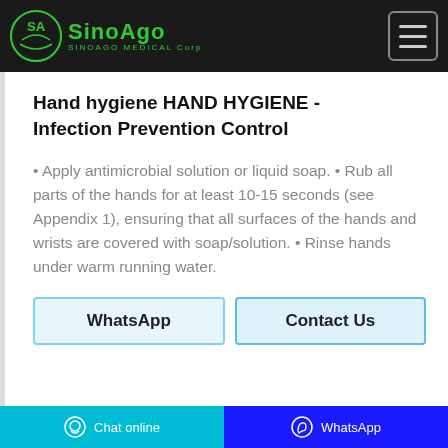SinoAgo Medical Corp
Hand hygiene HAND HYGIENE - Infection Prevention Control
• Apply antimicrobial solution or liquid soap. • Rub all parts of the hands for at least 10-15 seconds (see Appendix 1), ensuring that all surfaces of the hands and wrists are covered with soap/solution. • Rinse hands under warm running water.
WhatsApp
Contact Us
Chat online | WhatsApp